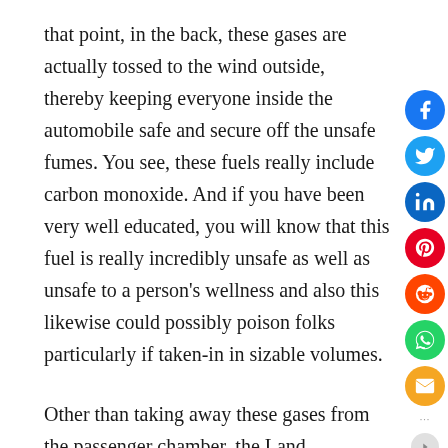that point, in the back, these gases are actually tossed to the wind outside, thereby keeping everyone inside the automobile safe and secure off the unsafe fumes. You see, these fuels really include carbon monoxide. And if you have been very well educated, you will know that this fuel is really incredibly unsafe as well as unsafe to a person's wellness and also this likewise could possibly poison folks particularly if taken-in in sizable volumes.
Other than taking away these gases from the passenger chamber, the Land Vagabond exhaust unit also converts pollutants. Coming from being quite dangerous, the Land Wanderer may in fact